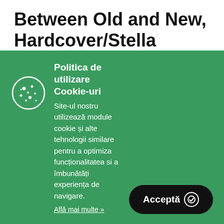Between Old and New, Hardcover/Stella Papanicolaou
Description - Showcases a wide range of case studies for multiple restoration methods and renewal projects- Includes technical drawings for specific details and data- Provides a practical and operational
Politica de utilizare Cookie-uri
Site-ul nostru utilizează module cookie și alte tehnologii similare pentru a optimiza funcționalitatea si a îmbunătăți experiența de navigare.
Află mai multe »
Acceptă ✓